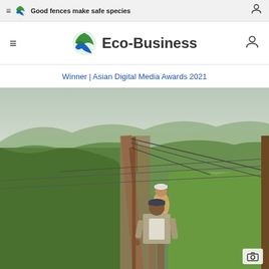Good fences make safe species
Eco-Business
Winner | Asian Digital Media Awards 2021
[Figure (photo): Workers constructing a fence along a hillside in a lush green African landscape with mountains in the background. Two men are visible, one in a cap in the foreground and one further back. Wooden fence posts and wire strands are visible along a dirt path.]